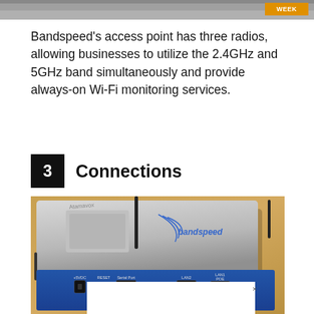[Figure (photo): Top portion of a Bandspeed wireless access point device, cropped at the top of the page with an orange/yellow badge in the top-right corner]
Bandspeed’s access point has three radios, allowing businesses to utilize the 2.4GHz and 5GHz band simultaneously and provide always-on Wi-Fi monitoring services.
3   Connections
[Figure (photo): Photo of a Bandspeed wireless access point showing the top (silver/gray) and front (blue) panels. The front panel shows ports labeled +5VDC, RESET, Serial Port, LAN2, and LAN1 POE. An antenna is visible in the center and right. The Bandspeed logo is on the top surface. A white overlay box appears at the bottom of the image with an X close button.]